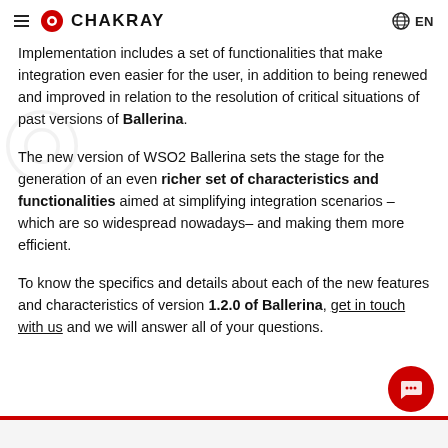CHAKRAY  EN
Implementation includes a set of functionalities that make integration even easier for the user, in addition to being renewed and improved in relation to the resolution of critical situations of past versions of Ballerina.
The new version of WSO2 Ballerina sets the stage for the generation of an even richer set of characteristics and functionalities aimed at simplifying integration scenarios – which are so widespread nowadays– and making them more efficient.
To know the specifics and details about each of the new features and characteristics of version 1.2.0 of Ballerina, get in touch with us and we will answer all of your questions.